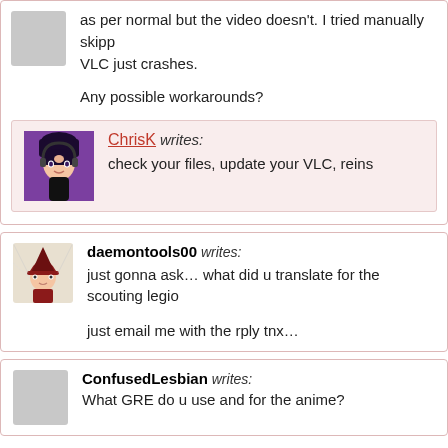as per normal but the video doesn't. I tried manually skipping but VLC just crashes.
Any possible workarounds?
ChrisK writes: check your files, update your VLC, reins...
daemontools00 writes: just gonna ask… what did u translate for the scouting legio...
just email me with the rply tnx…
ConfusedLesbian writes:
What GRE do u use and for the anime?